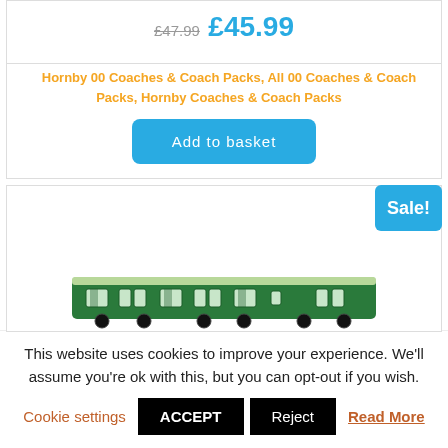£47.99 £45.99
Hornby 00 Coaches & Coach Packs, All 00 Coaches & Coach Packs, Hornby Coaches & Coach Packs
Add to basket
[Figure (photo): Sale! badge (blue) over a product card showing a green model railway coach/train car]
This website uses cookies to improve your experience. We'll assume you're ok with this, but you can opt-out if you wish.
Cookie settings  ACCEPT  Reject  Read More